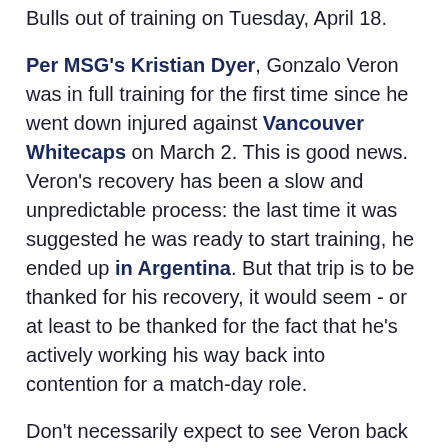Bulls out of training on Tuesday, April 18.
Per MSG's Kristian Dyer, Gonzalo Veron was in full training for the first time since he went down injured against Vancouver Whitecaps on March 2. This is good news. Veron's recovery has been a slow and unpredictable process: the last time it was suggested he was ready to start training, he ended up in Argentina. But that trip is to be thanked for his recovery, it would seem - or at least to be thanked for the fact that he's actively working his way back into contention for a match-day role.
Don't necessarily expect to see Veron back on the field for RBNY too soon: per an official injury update from the club, the approach to managing the player's return to competitive action is "cautious". But at least no one has to call Buenos Aires to find out how he's doing.